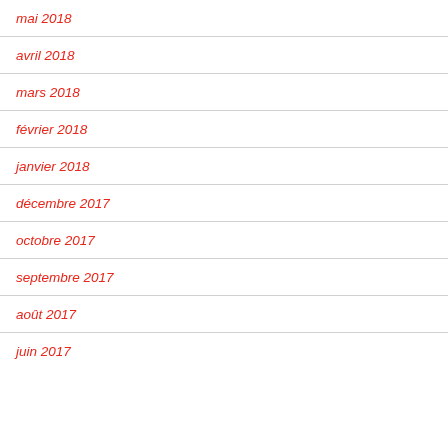mai 2018
avril 2018
mars 2018
février 2018
janvier 2018
décembre 2017
octobre 2017
septembre 2017
août 2017
juin 2017